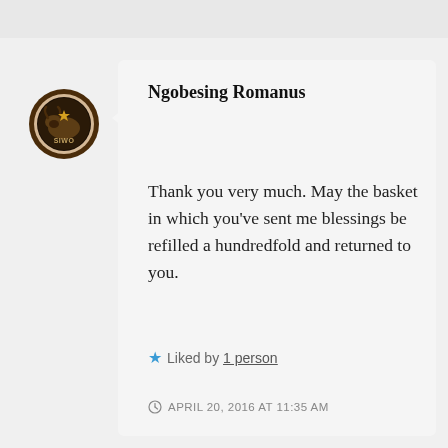Ngobesing Romanus
Thank you very much. May the basket in which you've sent me blessings be refilled a hundredfold and returned to you.
Liked by 1 person
APRIL 20, 2016 AT 11:35 AM